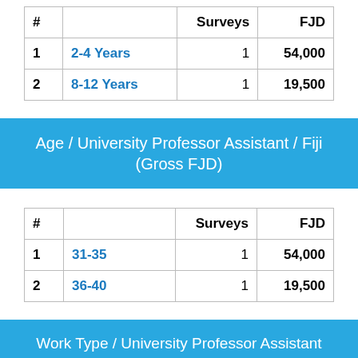| # |  | Surveys | FJD |
| --- | --- | --- | --- |
| 1 | 2-4 Years | 1 | 54,000 |
| 2 | 8-12 Years | 1 | 19,500 |
Age / University Professor Assistant / Fiji (Gross FJD)
| # |  | Surveys | FJD |
| --- | --- | --- | --- |
| 1 | 31-35 | 1 | 54,000 |
| 2 | 36-40 | 1 | 19,500 |
Work Type / University Professor Assistant / Fiji (Gross FJD)